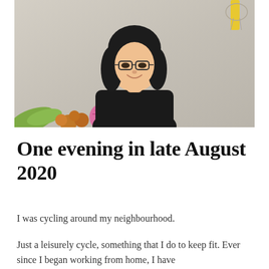[Figure (photo): A young East Asian woman with shoulder-length black hair and glasses, wearing a black t-shirt, smiling and standing in front of a textured off-white wall with a colorful mural featuring fruits and woven bags visible in the lower left corner.]
One evening in late August 2020
I was cycling around my neighbourhood.
Just a leisurely cycle, something that I do to keep fit. Ever since I began working from home, I have